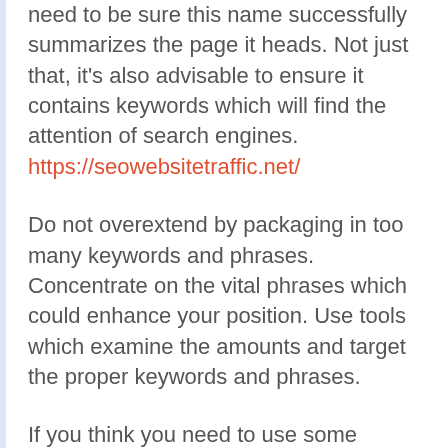need to be sure this name successfully summarizes the page it heads. Not just that, it's also advisable to ensure it contains keywords which will find the attention of search engines. https://seowebsitetraffic.net/
Do not overextend by packaging in too many keywords and phrases. Concentrate on the vital phrases which could enhance your position. Use tools which examine the amounts and target the proper keywords and phrases.
If you think you need to use some JavaScript be certain the vast majority of your articles isn't contained, or the work that you put into it's going to be for naught.